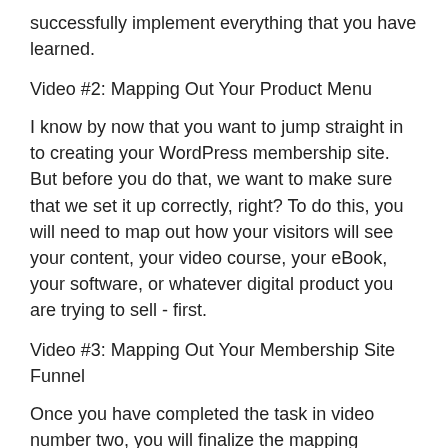successfully implement everything that you have learned.
Video #2: Mapping Out Your Product Menu
I know by now that you want to jump straight in to creating your WordPress membership site. But before you do that, we want to make sure that we set it up correctly, right? To do this, you will need to map out how your visitors will see your content, your video course, your eBook, your software, or whatever digital product you are trying to sell - first.
Video #3: Mapping Out Your Membership Site Funnel
Once you have completed the task in video number two, you will finalize the mapping process in this particular video. We will map it out using flow-chart software, which will allow you to actually see what your site will look like.